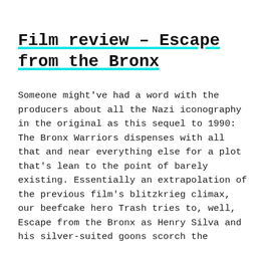Film review – Escape from the Bronx
Someone might've had a word with the producers about all the Nazi iconography in the original as this sequel to 1990: The Bronx Warriors dispenses with all that and near everything else for a plot that's lean to the point of barely existing. Essentially an extrapolation of the previous film's blitzkrieg climax, our beefcake hero Trash tries to, well, Escape from the Bronx as Henry Silva and his silver-suited goons scorch the